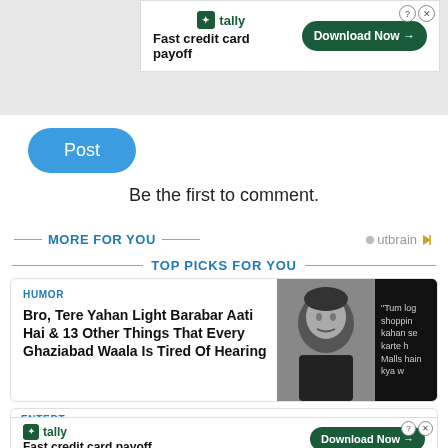[Figure (screenshot): Tally ad banner: Fast credit card payoff with Download Now button]
Post
Be the first to comment.
MORE FOR YOU
TOP PICKS FOR YOU
HUMOR
Bro, Tere Yahan Light Barabar Aati Hai & 13 Other Things That Every Ghaziabad Waala Is Tired Of Hearing
[Figure (photo): Black and white photo of a frustrated man with dark curly hair]
[Figure (screenshot): Dark background with text: Tum log shopping kahan se karte h Malls hain kya w]
ENTERT
Can Y
[Figure (screenshot): Tally ad: Fast credit card payoff with Download Now button at bottom]